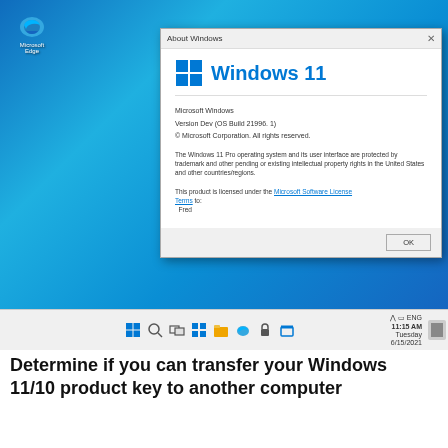[Figure (screenshot): Windows 11 desktop screenshot showing the 'About Windows' dialog box. The dialog displays the Windows 11 logo, version info (Version Dev (OS Build 21996. 1)), copyright notice, legal text about trademark and intellectual property, a link to Microsoft Software License Terms, and an OK button. The Windows 11 taskbar is visible at the bottom with centered icons and the time 11:15 AM, Tuesday 6/15/2021.]
Determine if you can transfer your Windows 11/10 product key to another computer